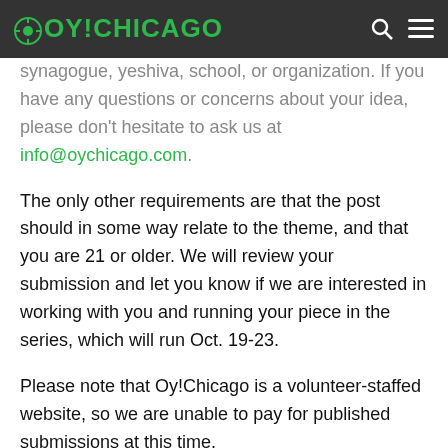OY!CHICAGO
synagogue, yeshiva, school, or organization. If you have any questions or concerns about your idea, please don't hesitate to ask us at info@oychicago.com.
The only other requirements are that the post should in some way relate to the theme, and that you are 21 or older. We will review your submission and let you know if we are interested in working with you and running your piece in the series, which will run Oct. 19-23.
Please note that Oy!Chicago is a volunteer-staffed website, so we are unable to pay for published submissions at this time.
Thanks for your interest!